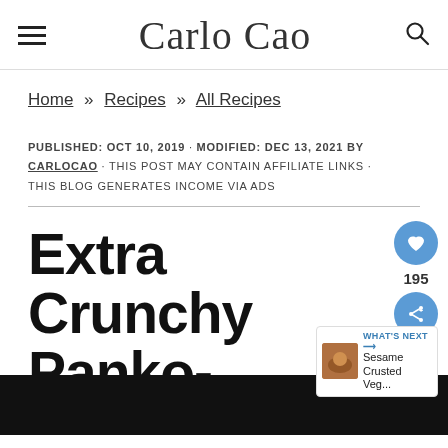Carlo Cao
Home » Recipes » All Recipes
PUBLISHED: OCT 10, 2019 · MODIFIED: DEC 13, 2021 BY CARLOCAO · THIS POST MAY CONTAIN AFFILIATE LINKS · THIS BLOG GENERATES INCOME VIA ADS
Extra Crunchy Panko-Crusted Portobello Mushrooms